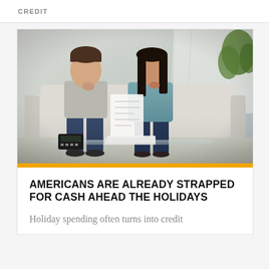CREDIT
[Figure (photo): A worried couple sitting on a couch, leaning forward with hands near their mouths, looking anxiously at a document/bill together. A glass coffee table in front has papers and a calculator on it. Bright living room setting.]
AMERICANS ARE ALREADY STRAPPED FOR CASH AHEAD THE HOLIDAYS
Holiday spending often turns into credit